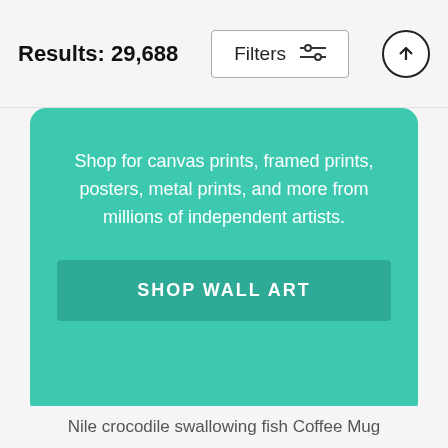Results: 29,688
Shop for canvas prints, framed prints, posters, metal prints, and more from millions of independent artists.
SHOP WALL ART
Nile crocodile swallowing fish Coffee Mug